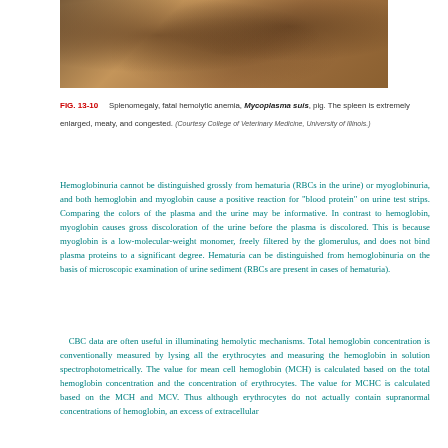[Figure (photo): Photograph of splenomegaly specimen from pig with fatal hemolytic anemia caused by Mycoplasma suis. The spleen appears extremely enlarged, meaty, and congested.]
FIG. 13-10   Splenomegaly, fatal hemolytic anemia, Mycoplasma suis, pig. The spleen is extremely enlarged, meaty, and congested. (Courtesy College of Veterinary Medicine, University of Illinois.)
Hemoglobinuria cannot be distinguished grossly from hematuria (RBCs in the urine) or myoglobinuria, and both hemoglobin and myoglobin cause a positive reaction for "blood protein" on urine test strips. Comparing the colors of the plasma and the urine may be informative. In contrast to hemoglobin, myoglobin causes gross discoloration of the urine before the plasma is discolored. This is because myoglobin is a low-molecular-weight monomer, freely filtered by the glomerulus, and does not bind plasma proteins to a significant degree. Hematuria can be distinguished from hemoglobinuria on the basis of microscopic examination of urine sediment (RBCs are present in cases of hematuria).
CBC data are often useful in illuminating hemolytic mechanisms. Total hemoglobin concentration is conventionally measured by lysing all the erythrocytes and measuring the hemoglobin in solution spectrophotometrically. The value for mean cell hemoglobin (MCH) is calculated based on the total hemoglobin concentration and the concentration of erythrocytes. The value for MCHC is calculated based on the MCH and MCV. Thus although erythrocytes do not actually contain supranormal concentrations of hemoglobin, an excess of extracellular